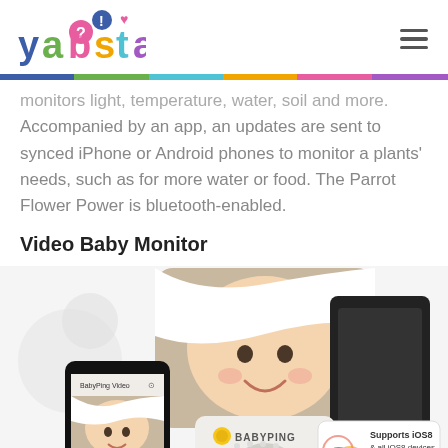yabsta
monitors light, temperature, water, soil and more. Accompanied by an app, an updates are sent to synced iPhone or Android phones to monitor a plants' needs, such as for more water or food. The Parrot Flower Power is bluetooth-enabled.
Video Baby Monitor
[Figure (photo): Product photo of the BabyPing video baby monitor system showing a smartphone running the BabyPing Video app with a baby on screen, the BabyPing camera device, a large photo of a smiling baby under a white blanket, and an iOS 8 compatibility badge listing supported devices: Supports iOS8 & all iOS8 devices, iPhone 6, iPhone 6 Plus]